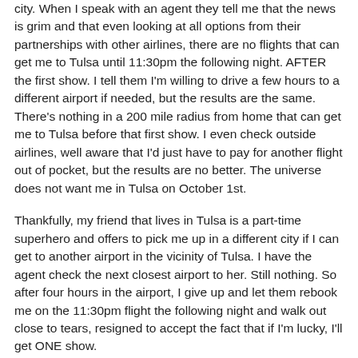city. When I speak with an agent they tell me that the news is grim and that even looking at all options from their partnerships with other airlines, there are no flights that can get me to Tulsa until 11:30pm the following night. AFTER the first show. I tell them I'm willing to drive a few hours to a different airport if needed, but the results are the same. There's nothing in a 200 mile radius from home that can get me to Tulsa before that first show. I even check outside airlines, well aware that I'd just have to pay for another flight out of pocket, but the results are no better. The universe does not want me in Tulsa on October 1st.
Thankfully, my friend that lives in Tulsa is a part-time superhero and offers to pick me up in a different city if I can get to another airport in the vicinity of Tulsa. I have the agent check the next closest airport to her. Still nothing. So after four hours in the airport, I give up and let them rebook me on the 11:30pm flight the following night and walk out close to tears, resigned to accept the fact that if I'm lucky, I'll get ONE show.
I'm in my car about a block from the airport when I get a call from my friend telling me that she found a flight to Kansas